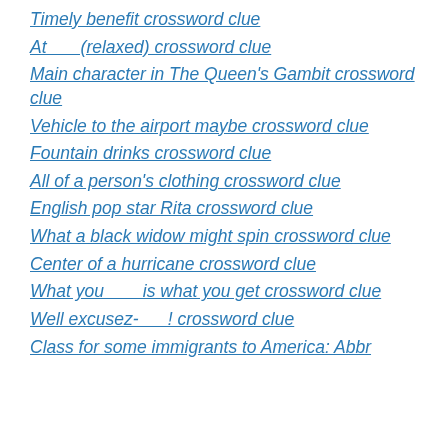Timely benefit crossword clue
At ___ (relaxed) crossword clue
Main character in The Queen's Gambit crossword clue
Vehicle to the airport maybe crossword clue
Fountain drinks crossword clue
All of a person's clothing crossword clue
English pop star Rita crossword clue
What a black widow might spin crossword clue
Center of a hurricane crossword clue
What you ___ is what you get crossword clue
Well excusez-___! crossword clue
Class for some immigrants to America: Abbr